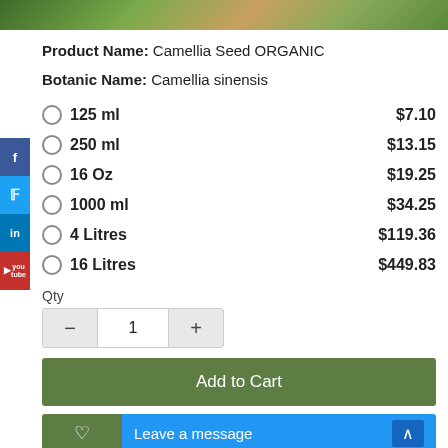[Figure (photo): Product image showing camellia plant/leaves at the top of the page]
Product Name: Camellia Seed ORGANIC
Botanic Name: Camellia sinensis
125 ml   $7.10
250 ml   $13.15
16 Oz   $19.25
1000 ml   $34.25
4 Litres   $119.36
16 Litres   $449.83
Qty
Add to Cart
Leave a message